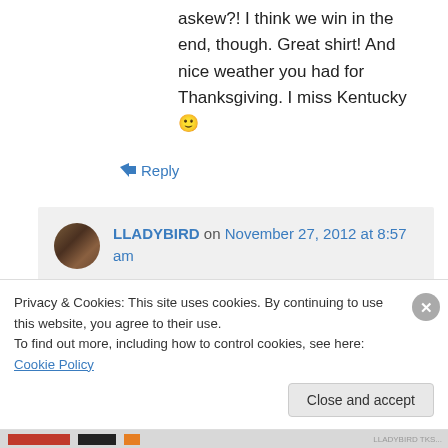askew?! I think we win in the end, though. Great shirt! And nice weather you had for Thanksgiving. I miss Kentucky 🙂
↪ Reply
LLADYBIRD on November 27, 2012 at 8:57 am
Yeah, I was beginning to wonder that myself. Staring at side seams drives me
Privacy & Cookies: This site uses cookies. By continuing to use this website, you agree to their use.
To find out more, including how to control cookies, see here: Cookie Policy
Close and accept